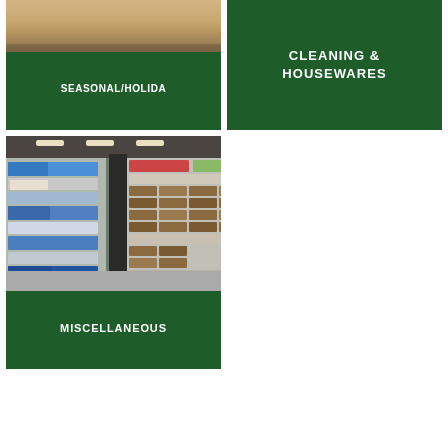[Figure (photo): Retail store shelf view with seasonal/holiday products, partially cropped. Dark green overlay label at bottom.]
SEASONAL/HOLIDA
[Figure (photo): Green card with CLEANING & HOUSEWARES text, no photo visible.]
CLEANING & HOUSEWARES
[Figure (photo): Retail store interior showing cleaning and miscellaneous product shelves with a dark column/pillar in center.]
MISCELLANEOUS